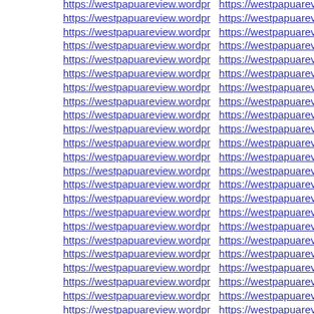Repeated rows of https://westpapuareview.wordpress.com links in two columns, partially visible/clipped on the right.